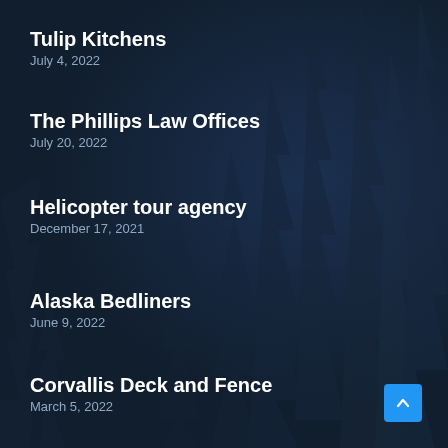Tulip Kitchens
July 4, 2022
The Phillips Law Offices
July 20, 2022
Helicopter tour agency
December 17, 2021
Alaska Bedliners
June 9, 2022
Corvallis Deck and Fence
March 5, 2022